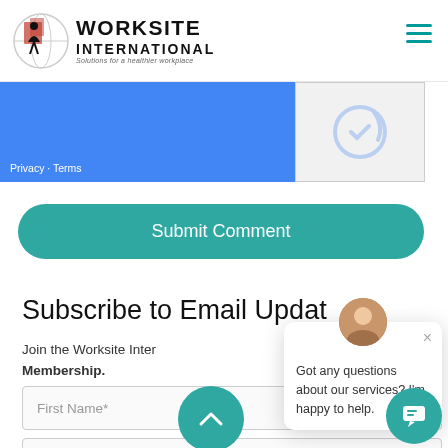[Figure (logo): Worksite International logo with globe and figure icon]
[Figure (screenshot): Google reCAPTCHA widget with blue background showing Privacy - Terms link and reCAPTCHA icon]
Submit Comment
Subscribe to Email Updates
Join the Worksite International Membership.
First Name*
Last Name*
[Figure (screenshot): Chat popup with avatar showing 'Got any questions about our services? I'm happy to help.' and a teal chat button circle]